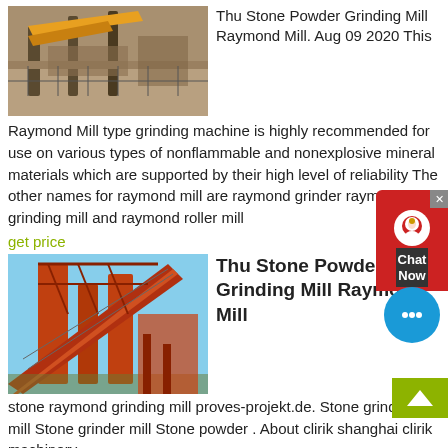[Figure (photo): Industrial stone grinding mill / conveyor equipment outdoors]
Thu Stone Powder Grinding Mill Raymond Mill. Aug 09 2020 This Raymond Mill type grinding machine is highly recommended for use on various types of nonflammable and nonexplosive mineral materials which are supported by their high level of reliability The other names for raymond mill are raymond grinder raymond grinding mill and raymond roller mill
get price
[Figure (photo): Large orange industrial conveyor / crusher structure against blue sky]
Thu Stone Powder Grinding Mill Raymond Mill
stone raymond grinding mill proves-projekt.de. Stone grinding mill Stone grinder mill Stone powder . About clirik shanghai clirik machinery